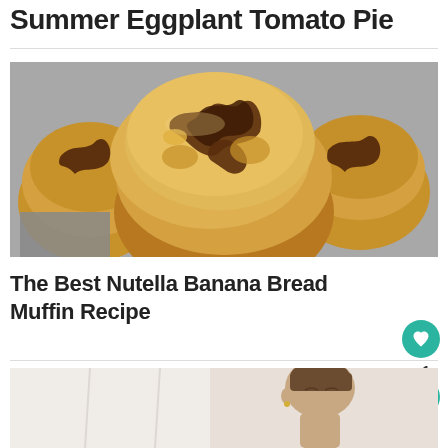Summer Eggplant Tomato Pie
[Figure (photo): Close-up photo of Nutella banana bread muffins with melted chocolate swirled on top, golden-brown baked texture]
The Best Nutella Banana Bread Muffin Recipe
[Figure (photo): Partial photo of a woman with short hair, eyes closed, white background]